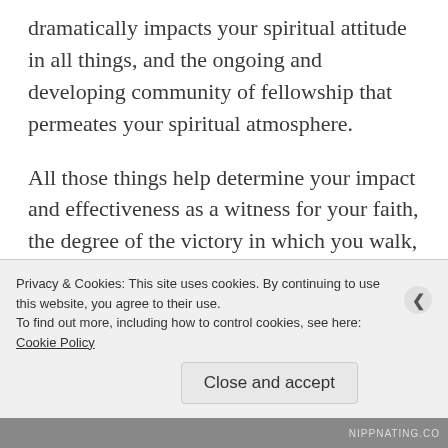dramatically impacts your spiritual attitude in all things, and the ongoing and developing community of fellowship that permeates your spiritual atmosphere.
All those things help determine your impact and effectiveness as a witness for your faith, the degree of the victory in which you walk, and the honor your life brings to the Lord and His kingdom.  In the case of our Text for Today, Jesus had come to Gadara, and the man who came down to meet Him did not come to
Privacy & Cookies: This site uses cookies. By continuing to use this website, you agree to their use.
To find out more, including how to control cookies, see here: Cookie Policy
Close and accept
nippnating.co